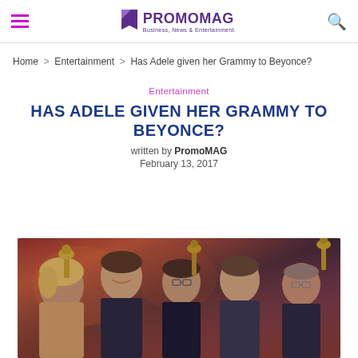PROMOMAG — Business, News & Entertainment
Home > Entertainment > Has Adele given her Grammy to Beyonce?
Entertainment
HAS ADELE GIVEN HER GRAMMY TO BEYONCE?
written by PromoMAG
February 13, 2017
[Figure (photo): Group of people at Grammy awards celebration, holding Grammy trophies, smiling and celebrating. Dark background with warm lighting.]